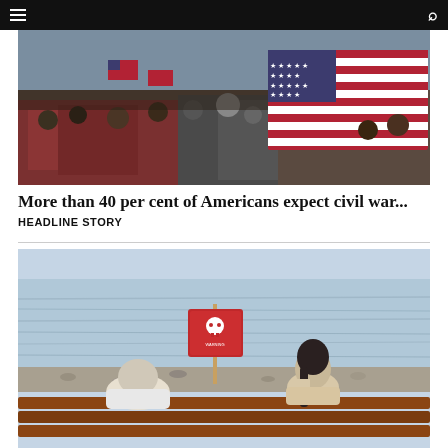Navigation bar with hamburger menu and search icon
[Figure (photo): Crowd of people at a rally waving large American flags, including a prominent large US flag being carried through the crowd]
More than 40 per cent of Americans expect civil war...
HEADLINE STORY
[Figure (photo): Two people sitting on a wooden bench with their backs to camera, facing a body of water with a red warning sign on a post in the middle ground]